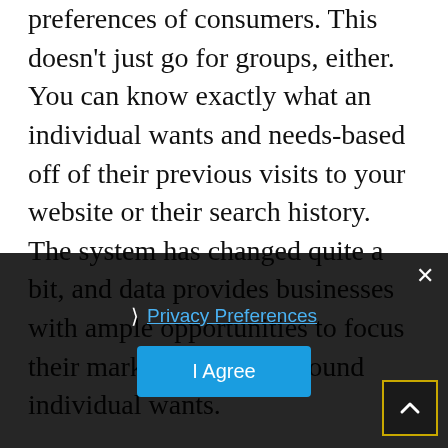preferences of consumers. This doesn't just go for groups, either. You can know exactly what an individual wants and needs-based off of their previous visits to your website or their search history. The system has changed quite a bit, and data provides businesses with ample opportunities to focus their marketing efforts around individual wants.

Mobile and desktop devices save a whole bunch of data from their users. They record where they live, who they follow on social media, even when they're awake. This information isn't directly accessible by your business, but there are many tools that can allow you to better channel marketing efforts to help draw consumers.